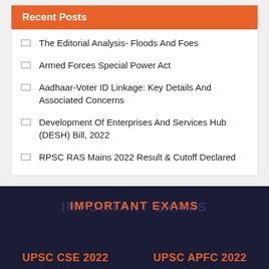Recent Posts
The Editorial Analysis- Floods And Foes
Armed Forces Special Power Act
Aadhaar-Voter ID Linkage: Key Details And Associated Concerns
Development Of Enterprises And Services Hub (DESH) Bill, 2022
RPSC RAS Mains 2022 Result & Cutoff Declared
IMPORTANT EXAMS
UPSC CSE 2022
UPSC APFC 2022